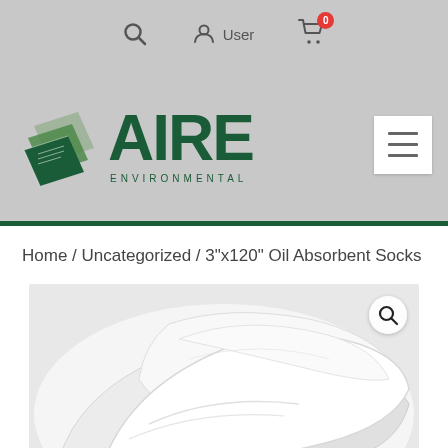[Figure (screenshot): Website top navigation bar with search icon, User account icon, and shopping cart icon with badge showing 0]
[Figure (logo): Aire Environmental logo with stacked pages graphic and green bold AIRE text with ENVIRONMENTAL subtitle, and hamburger menu button on right]
Home / Uncategorized / 3"x120" Oil Absorbent Socks
[Figure (photo): Close-up photo of white oil absorbent socks coiled together, with a magnifying glass zoom icon in the upper right corner]